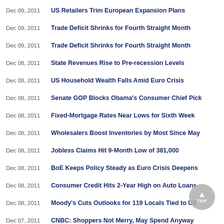Dec 09, 2011 US Retailers Trim European Expansion Plans
Dec 09, 2011 Trade Deficit Shrinks for Fourth Straight Month
Dec 09, 2011 Trade Deficit Shrinks for Fourth Straight Month
Dec 08, 2011 State Revenues Rise to Pre-recession Levels
Dec 08, 2011 US Household Wealth Falls Amid Euro Crisis
Dec 08, 2011 Senate GOP Blocks Obama's Consumer Chief Pick
Dec 08, 2011 Fixed-Mortgage Rates Near Lows for Sixth Week
Dec 08, 2011 Wholesalers Boost Inventories by Most Since May
Dec 08, 2011 Jobless Claims Hit 9-Month Low of 381,000
Dec 08, 2011 BoE Keeps Policy Steady as Euro Crisis Deepens
Dec 08, 2011 Consumer Credit Hits 2-Year High on Auto Loans
Dec 08, 2011 Moody's Cuts Outlooks for 119 Locals Tied to US
Dec 07, 2011 CNBC: Shoppers Not Merry, May Spend Anyway